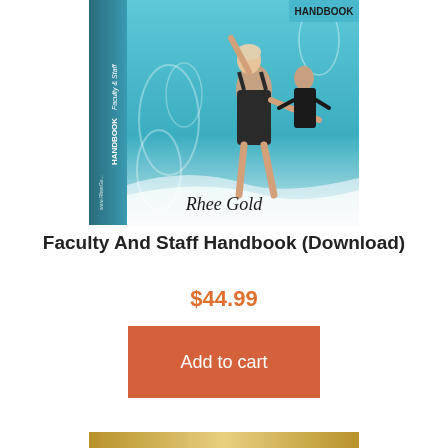[Figure (photo): Book cover of Faculty & Staff Handbook by Rhee Gold. Features a ballet dancer in a black leotard with arm raised, and an instructor in the background, against a teal/aqua decorative background with swirls. The spine reads 'Faculty & Staff HANDBOOK' and shows www.RheeGo... The cover has a cursive 'Rhee Gold' signature at the bottom.]
Faculty And Staff Handbook (Download)
$44.99
Add to cart